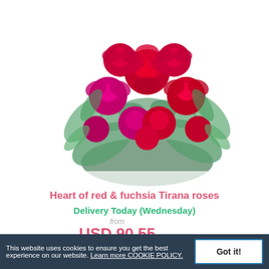[Figure (photo): Heart-shaped arrangement of red and fuchsia roses with green foliage and red berries on white background]
Heart of red & fuchsia Tirana roses
Delivery Today (Wednesday)
from
USD 90.55
GBP75.03 | EUR 89.00
DETAILS / BUY NOW
This website uses cookies to ensure you get the best experience on our website. Learn more COOKIE POLICY.
Got it!